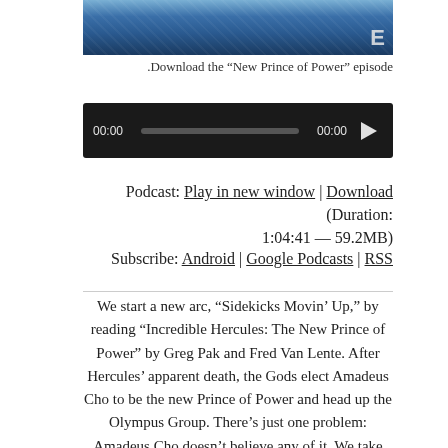[Figure (photo): Partial hero/banner image at top, dark blue tones with texture, letter E visible at bottom right corner]
.Download the “New Prince of Power” episode
[Figure (screenshot): Audio player widget with dark background showing 00:00 time on left, progress bar, 00:00 on right, and play button triangle]
Podcast: Play in new window | Download (Duration: 1:04:41 — 59.2MB)
Subscribe: Android | Google Podcasts | RSS
We start a new arc, “Sidekicks Movin’ Up,” by reading “Incredible Hercules: The New Prince of Power” by Greg Pak and Fred Van Lente. After Hercules’ apparent death, the Gods elect Amadeus Cho to be the new Prince of Power and head up the Olympus Group. There’s just one problem: Amadeus Cho doesn’t believe any of it. We take some time to